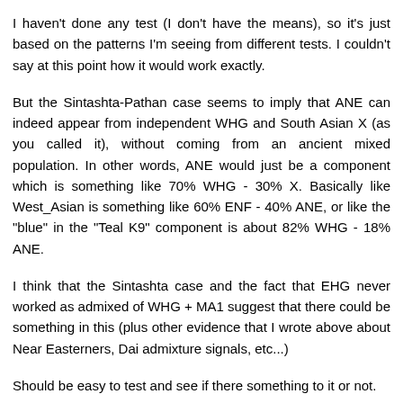I haven't done any test (I don't have the means), so it's just based on the patterns I'm seeing from different tests. I couldn't say at this point how it would work exactly.
But the Sintashta-Pathan case seems to imply that ANE can indeed appear from independent WHG and South Asian X (as you called it), without coming from an ancient mixed population. In other words, ANE would just be a component which is something like 70% WHG - 30% X. Basically like West_Asian is something like 60% ENF - 40% ANE, or like the "blue" in the "Teal K9" component is about 82% WHG - 18% ANE.
I think that the Sintashta case and the fact that EHG never worked as admixed of WHG + MA1 suggest that there could be something in this (plus other evidence that I wrote above about Near Easterners, Dai admixture signals, etc...)
Should be easy to test and see if there something to it or not.
Reply